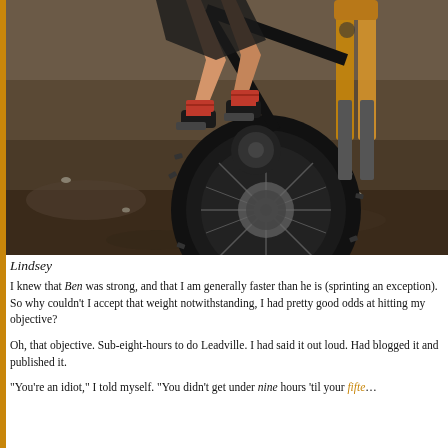[Figure (photo): Mountain biker on a black bike riding on dirt/gravel terrain, shot from low angle showing front wheel, fork, and rider's legs with red accents on shoes/socks. Black mountain bike with large knobby tires.]
Lindsey
I knew that Ben was strong, and that I am generally faster than he is (sprinting an exception). So why couldn't I accept that weight notwithstanding, I had pretty good odds at hitting my objective?
Oh, that objective. Sub-eight-hours to do Leadville. I had said it out loud. Had blogged it and published it.
“You’re an idiot,” I told myself. “You didn’t get under nine hours ‘til your fifteen[th] year, and you think you can be nineteen minutes faster than your best? A best (8:18) you, by the way, … you have not repeated in four years. When you were in your mid…”